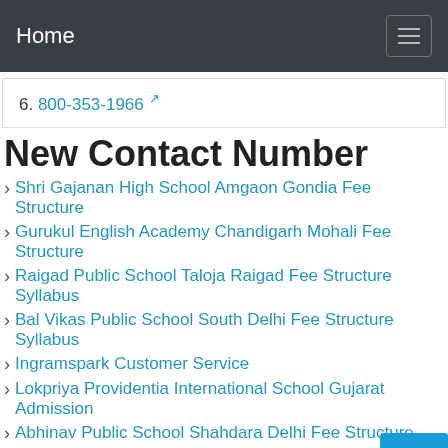Home
6. 800-353-1966
New Contact Number
Shri Gajanan High School Amgaon Gondia Fee Structure
Gurukul English Academy Chandigarh Mohali Fee Structure
Raigad Public School Taloja Raigad Fee Structure Syllabus
Bal Vikas Public School South Delhi Fee Structure Syllabus
Ingramspark Customer Service
Lokpriya Providentia International School Gujarat Admission
Abhinav Public School Shahdara Delhi Fee Structure
Gyanodaya Bal Acadamy Daurala Meerut Fee Structure
K Convert Csv To Vcard T Free Outlook Mac Contacts